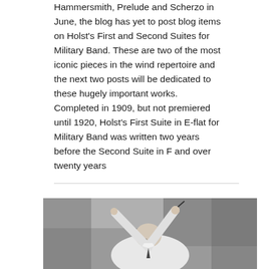Hammersmith, Prelude and Scherzo in June, the blog has yet to post blog items on Holst's First and Second Suites for Military Band. These are two of the most iconic pieces in the wind repertoire and the next two posts will be dedicated to these hugely important works. Completed in 1909, but not premiered until 1920, Holst's First Suite in E-flat for Military Band was written two years before the Second Suite in F and over twenty years
[Figure (photo): Black and white photograph of a bald conductor with glasses, raising a baton in his right hand and pointing upward with his left hand, wearing a white shirt and dark tie.]